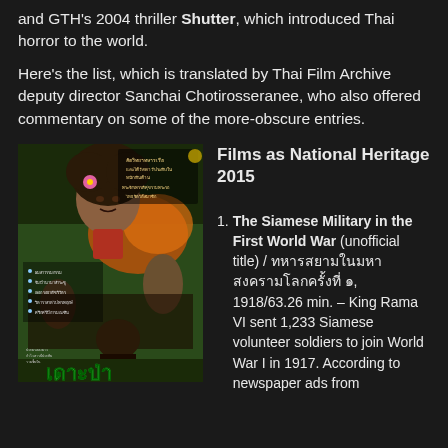and GTH's 2004 thriller Shutter, which introduced Thai horror to the world.
Here's the list, which is translated by Thai Film Archive deputy director Sanchai Chotirosseranee, who also offered commentary on some of the more-obscure entries.
[Figure (photo): Movie poster showing a Thai film with a woman with a flower in her hair and action figures in the background, with Thai script text and the title at the bottom in green Thai letters]
Films as National Heritage 2015
1. The Siamese Military in the First World War (unofficial title) / [Thai script] ๑, 1918/63.26 min. – King Rama VI sent 1,233 Siamese volunteer soldiers to join World War I in 1917. According to newspaper ads from